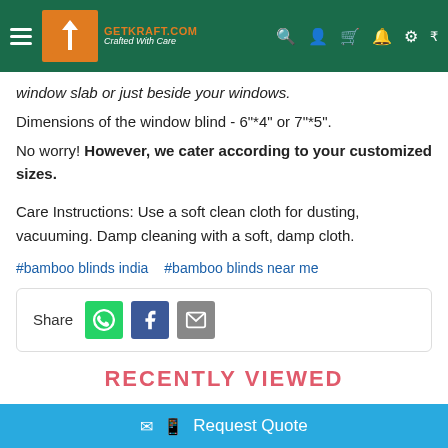GETKRAFT.COM Crafted With Care
window slab or just beside your windows.
Dimensions of the window blind - 6"*4" or 7"*5".
No worry! However, we cater according to your customized sizes.
Care Instructions: Use a soft clean cloth for dusting, vacuuming. Damp cleaning with a soft, damp cloth.
#bamboo blinds india  #bamboo blinds near me
Share
RECENTLY VIEWED
Request Quote